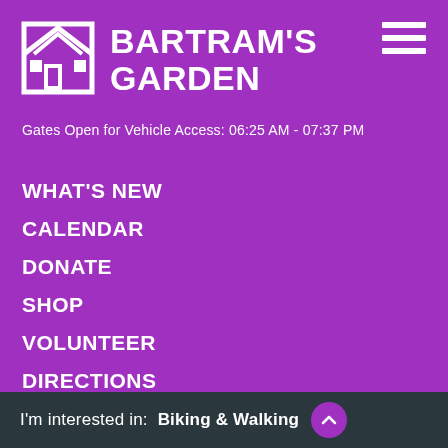[Figure (logo): Bartram's Garden logo: house/garden outline icon in white on purple background]
BARTRAM'S GARDEN
Gates Open for Vehicle Access: 06:25 AM - 07:37 PM
WHAT'S NEW
CALENDAR
DONATE
SHOP
VOLUNTEER
DIRECTIONS
SOUTHWEST NEIGHBORHOOD
CAREERS
PLAN YOUR EVENT
MEDIA KIT
I'm interested in:  Biking & Walking